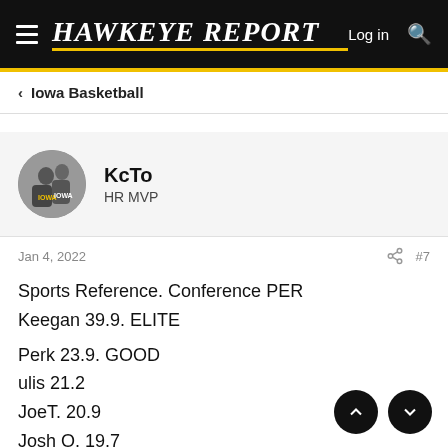Hawkeye Report – Log in
Iowa Basketball
KcTo
HR MVP
Jan 4, 2022   #7
Sports Reference. Conference PER
Keegan 39.9. ELITE

Perk 23.9. GOOD
ulis 21.2
JoeT. 20.9
Josh O. 19.7